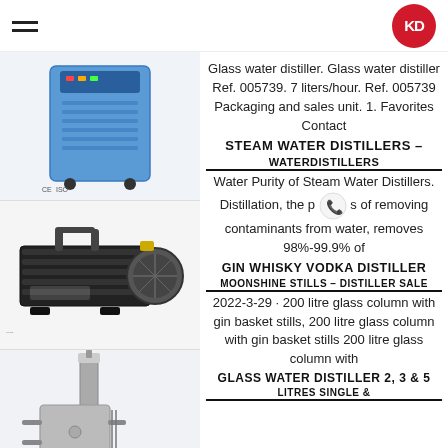KD logo and hamburger menu
[Figure (photo): Blue glass water distiller / chiller unit with CE ISO markings]
Glass water distiller. Glass water distiller Ref. 005739. 7 liters/hour. Ref. 005739 Packaging and sales unit. 1. Favorites Contact
STEAM WATER DISTILLERS – WATERDISTILLERS
[Figure (photo): Black industrial vacuum pump / rotary vane pump]
Water Purity of Steam Water Distillers. Distillation, the process of removing contaminants from water, removes 98%-99.9% of
GIN WHISKY VODKA DISTILLER MOONSHINE STILLS – DISTILLER SALES
[Figure (photo): Large industrial distillation column/tower with CE and star markings]
2022-3-29 · 200 litre glass column with gin basket stills, 200 litre glass column with gin basket stills 200 litre glass column with
GLASS WATER DISTILLER 2, 3 & 5 LITRES SINGLE &
[Figure (photo): Another distillation equipment at bottom of page]